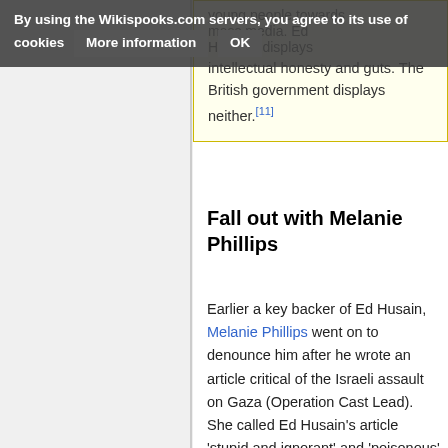By using the Wikispooks.com servers, you agree to its use of cookies   More information   OK
young people towards ... mass media. Ed Hussain displays intellectual honesty and guts. The British government displays neither.[11]
Fall out with Melanie Phillips
Earlier a key backer of Ed Husain, Melanie Phillips went on to denounce him after he wrote an article critical of the Israeli assault on Gaza (Operation Cast Lead). She called Ed Husain's article 'stupid and ignorant' and 'poisonous' which placed him on the wrong side 'in the great battle